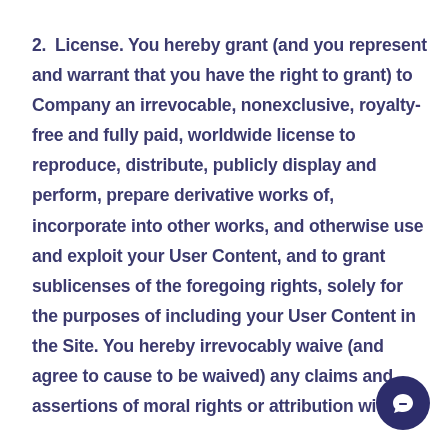2. License.  You hereby grant (and you represent and warrant that you have the right to grant) to Company an irrevocable, nonexclusive, royalty-free and fully paid, worldwide license to reproduce, distribute, publicly display and perform, prepare derivative works of, incorporate into other works, and otherwise use and exploit your User Content, and to grant sublicenses of the foregoing rights, solely for the purposes of including your User Content in the Site.  You hereby irrevocably waive (and agree to cause to be waived) any claims and assertions of moral rights or attribution with